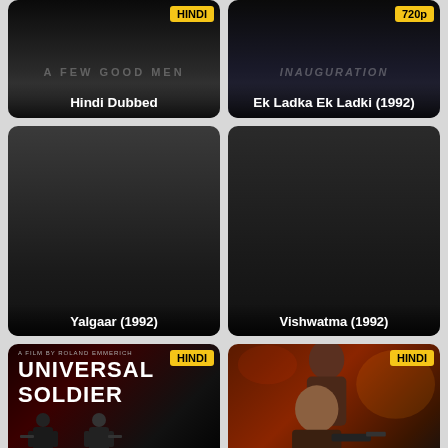[Figure (screenshot): Movie card - Hindi Dubbed, dark background with faint 'A FEW GOOD MEN' text, HINDI badge]
Hindi Dubbed
[Figure (screenshot): Movie card - Ek Ladka Ek Ladki (1992), dark background with faint 'INAUGURATION' text, 720p badge]
Ek Ladka Ek Ladki (1992)
[Figure (screenshot): Movie card - Yalgaar (1992), dark poster]
Yalgaar (1992)
[Figure (screenshot): Movie card - Vishwatma (1992), dark poster]
Vishwatma (1992)
[Figure (screenshot): Universal Soldier movie poster, red/dark background, HINDI badge, soldiers with weapons, 'A FILM BY ROLAND EMMERICH' text]
[Figure (screenshot): Hindi dubbed action movie with man holding gun, HINDI badge, fiery background]